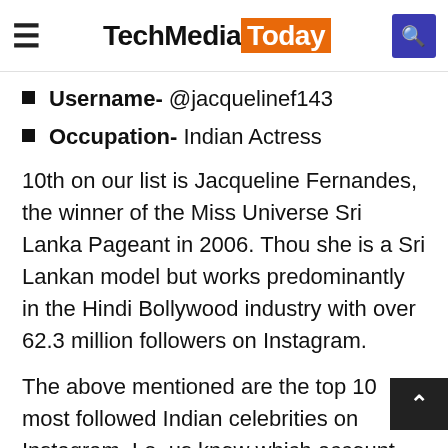TechMediaToday
Username- @jacquelinef143
Occupation- Indian Actress
10th on our list is Jacqueline Fernandes, the winner of the Miss Universe Sri Lanka Pageant in 2006. Thou she is a Sri Lankan model but works predominantly in the Hindi Bollywood industry with over 62.3 million followers on Instagram.
The above mentioned are the top 10 most followed Indian celebrities on Instagram. Let us know which account you follow in the comment section. Also don't forget to share